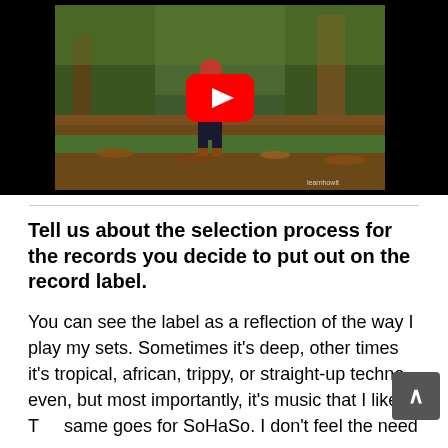[Figure (screenshot): YouTube video embed showing a person standing in an autumnal woodland/park setting with fallen leaves on the ground. A large red YouTube play button is overlaid in the center of the video thumbnail.]
Tell us about the selection process for the records you decide to put out on the record label.
You can see the label as a reflection of the way I play my sets. Sometimes it’s deep, other times it’s tropical, african, trippy, or straight-up techno even, but most importantly, it’s music that I like. The same goes for SoHaSo. I don’t feel the need to stick to one particular sound. I just release music